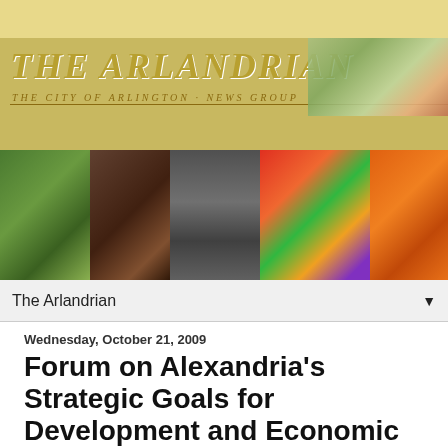[Figure (illustration): The Arlandrian website header banner with publication title in stylized italic gold text, subtitle 'The City of Arlington, News Group', decorative divider line, and a map image in top right corner]
[Figure (photo): Horizontal photo strip showing five photos: baseball field (green grass), wooden sign/camera on post, bicycle lane road marking, colorful fruit/vegetable market display, and industrial/electrical infrastructure]
The Arlandrian ▼
Wednesday, October 21, 2009
Forum on Alexandria's Strategic Goals for Development and Economic Vitality, Thursday night at 7pm
October 22 Forum to discuss the City of Alexandria's Strategic Goals for Development and Economic Vitality
If you live, work, or do business in the City of Alexandria, you are invited to speak at a public forum about the City of Alexandria's strategic goals for development, redevelopment